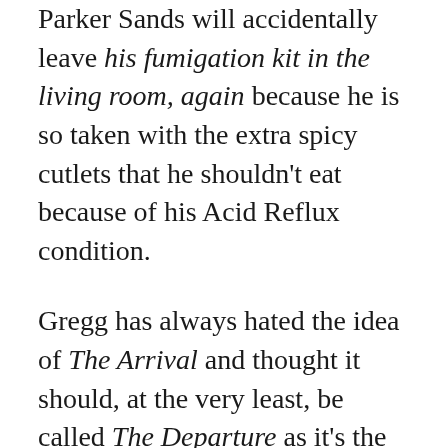Parker Sands will accidentally leave his fumigation kit in the living room, again because he is so taken with the extra spicy cutlets that he shouldn't eat because of his Acid Reflux condition.
Gregg has always hated the idea of The Arrival and thought it should, at the very least, be called The Departure as it's the closing activity for retreats, but the requirement and moniker stuck. The Arrival is the one activity he must include if he wants to keep his job and continue to make payments on his second mortgage that he never told Trudy about because he has been spending his off-hours at OTB and an underground gambling room and has lost their life